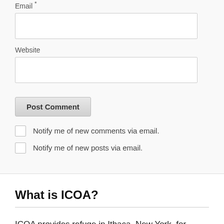Email *
Website
Post Comment
Notify me of new comments via email.
Notify me of new posts via email.
What is ICOA?
ICOA provides refuge in Ithaca, New York, for writers and artists whose works are suppressed, whose lives are threatened, whose cultures are vanishing, and whose